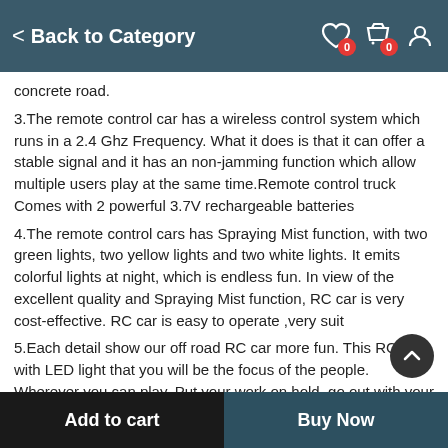< Back to Category
concrete road.
3.The remote control car has a wireless control system which runs in a 2.4 Ghz Frequency. What it does is that it can offer a stable signal and it has an non-jamming function which allow multiple users play at the same time.Remote control truck Comes with 2 powerful 3.7V rechargeable batteries
4.The remote control cars has Spraying Mist function, with two green lights, two yellow lights and two white lights. It emits colorful lights at night, which is endless fun. In view of the excellent quality and Spraying Mist function, RC car is very cost-effective. RC car is easy to operate ,very suit
5.Each detail show our off road RC car more fun. This RC car with LED light that you will be the focus of the people. Wherever you can play. Put your work on hold, go out with your kids, and enjoy family time. RC cars for boys age 8-12 is a must-have gift for the birthday
Add to cart  |  Buy Now